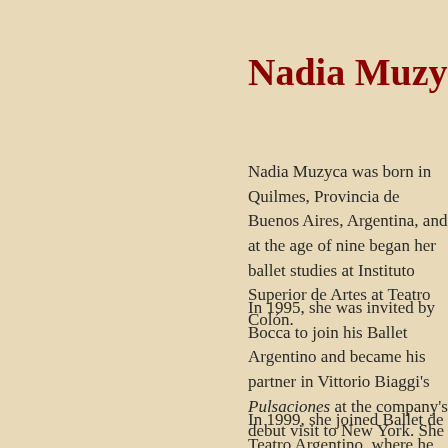Nadia Muzyca
Nadia Muzyca was born in Quilmes, Provincia de Buenos Aires, Argentina, and at the age of nine began her ballet studies at Instituto Superior de Artes at Teatro Colón.
In 1995, she was invited by Bocca to join his Ballet Argentino and became his partner in Vittorio Biaggi's Pulsaciones at the company's debut visit to New York. She also participated with Ballet Argentino in numerous tours throughout the world.
In 1999, she joined Ballet de Teatro Argentino, where he